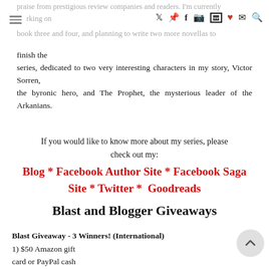praise from prestigious review companies and readers. I'm currently working on
book three and four, and planning to write two more novellas to finish the series, dedicated to two very interesting characters in my story, Victor Sorren, the byronic hero, and The Prophet, the mysterious leader of the Arkanians.
If you would like to know more about my series, please check out my: Blog * Facebook Author Site * Facebook Saga Site * Twitter * Goodreads
Blast and Blogger Giveaways
Blast Giveaway - 3 Winners! (International)
1) $50 Amazon gift card or PayPal cash
2) One paperback copy